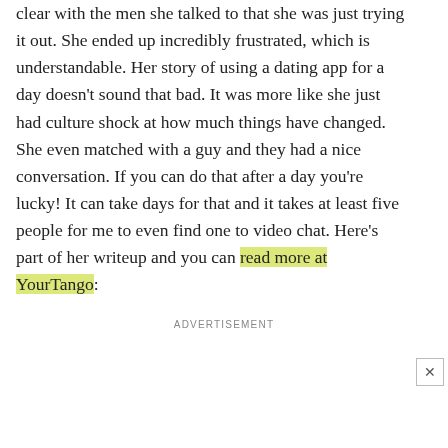clear with the men she talked to that she was just trying it out. She ended up incredibly frustrated, which is understandable. Her story of using a dating app for a day doesn't sound that bad. It was more like she just had culture shock at how much things have changed. She even matched with a guy and they had a nice conversation. If you can do that after a day you're lucky! It can take days for that and it takes at least five people for me to even find one to video chat. Here's part of her writeup and you can read more at YourTango:
ADVERTISEMENT